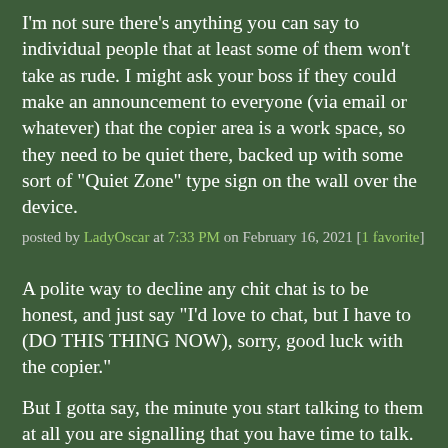I'm not sure there's anything you can say to individual people that at least some of them won't take as rude. I might ask your boss if they could make an announcement to everyone (via email or whatever) that the copier area is a work space, so they need to be quiet there, backed up with some sort of "Quiet Zone" type sign on the wall over the device.
posted by LadyOscar at 7:33 PM on February 16, 2021 [1 favorite]
A polite way to decline any chit chat is to be honest, and just say "I'd love to chat, but I have to (DO THIS THING NOW), sorry, good luck with the copier."
But I gotta say, the minute you start talking to them at all you are signalling that you have time to talk. Even just a little bit. I mean you just talked to them, yeah? Surely you can spare them two seconds to listen to their rant?